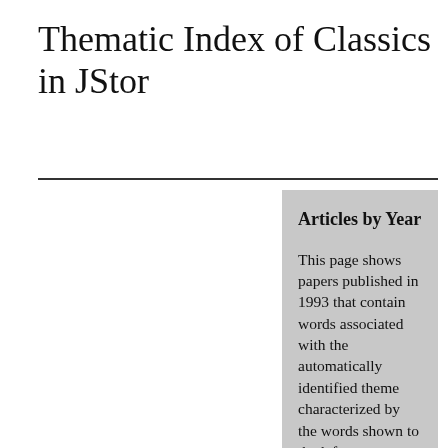Thematic Index of Classics in JStor
Articles by Year
This page shows papers published in 1993 that contain words associated with the automatically identified theme characterized by the words shown to the left.